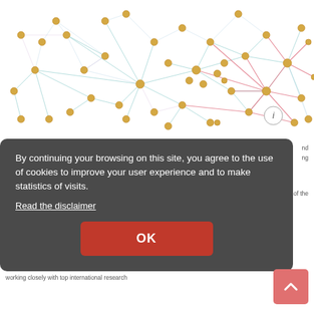[Figure (network-graph): A network graph visualization showing nodes (yellow/gold circles) connected by colored edges (teal, blue, red/pink lines) on a white background. The nodes are distributed across the image with higher density towards the right side where red connections converge.]
nd
ng
and its graphic use of the information r
We have an d bottom We have an d bottom
working closely with top international research
[Figure (screenshot): Cookie consent overlay box with dark gray background. Text reads: 'By continuing your browsing on this site, you agree to the use of cookies to improve your user experience and to make statistics of visits.' with a 'Read the disclaimer' link and an OK button in red.]
By continuing your browsing on this site, you agree to the use of cookies to improve your user experience and to make statistics of visits.
Read the disclaimer
OK